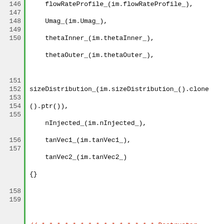[Figure (screenshot): Source code listing in C++ showing lines 146–173 of a ConeInjection class implementation, with green line number gutter, syntax highlighting in green, red, and blue on white background.]